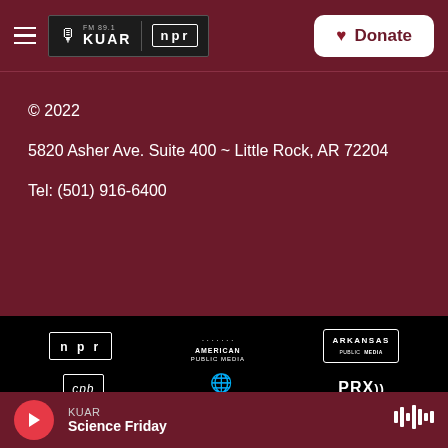FM 89.1 KUAR | NPR — Donate
© 2022
5820 Asher Ave. Suite 400 ~ Little Rock, AR 72204
Tel: (501) 916-6400
[Figure (logo): Row of partner logos on black background: NPR, American Public Media, Arkansas Public Media, CPB, PRI, PRX]
KUAR — Science Friday (player bar)